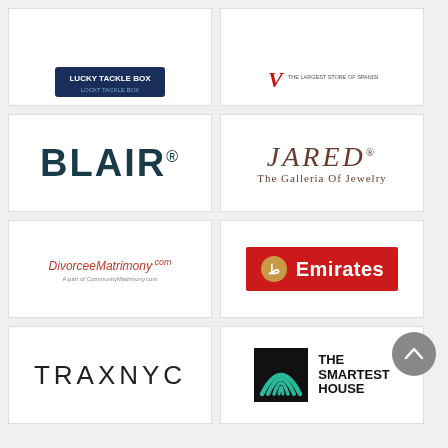[Figure (logo): Lucky Tackle Box logo (partially visible, cropped at top)]
[Figure (logo): V - The Largest Store of Spanish Wines logo (partially visible, cropped at top)]
[Figure (logo): BLAIR wordmark logo in dark teal/navy]
[Figure (logo): JARED The Galleria Of Jewelry logo in brown serif italic font]
[Figure (logo): DivorceeMartimony.com logo - A part of CommunityMatrimony.com]
[Figure (logo): Emirates airline logo - red rectangle with white text and gold emblem]
[Figure (logo): TRAXNYC wordmark logo in thin sans-serif]
[Figure (logo): The Smartest House logo with signal/wifi arc icon on black square]